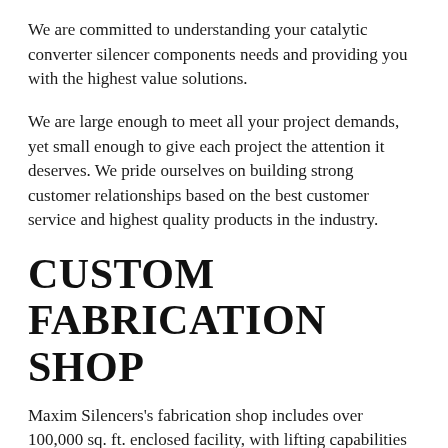We are committed to understanding your catalytic converter silencer components needs and providing you with the highest value solutions.
We are large enough to meet all your project demands, yet small enough to give each project the attention it deserves. We pride ourselves on building strong customer relationships based on the best customer service and highest quality products in the industry.
CUSTOM FABRICATION SHOP
Maxim Silencers's fabrication shop includes over 100,000 sq. ft. enclosed facility, with lifting capabilities up to 15,000 lbs on a 13 acre campus.
Capabilities include, but are not limited to welding